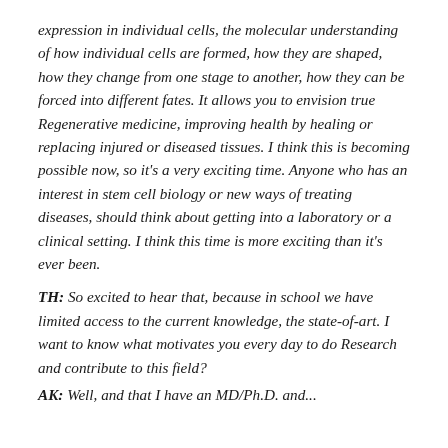expression in individual cells, the molecular understanding of how individual cells are formed, how they are shaped, how they change from one stage to another, how they can be forced into different fates. It allows you to envision true Regenerative medicine, improving health by healing or replacing injured or diseased tissues. I think this is becoming possible now, so it's a very exciting time. Anyone who has an interest in stem cell biology or new ways of treating diseases, should think about getting into a laboratory or a clinical setting. I think this time is more exciting than it's ever been.
TH: So excited to hear that, because in school we have limited access to the current knowledge, the state-of-art. I want to know what motivates you every day to do Research and contribute to this field?
AK: Well...